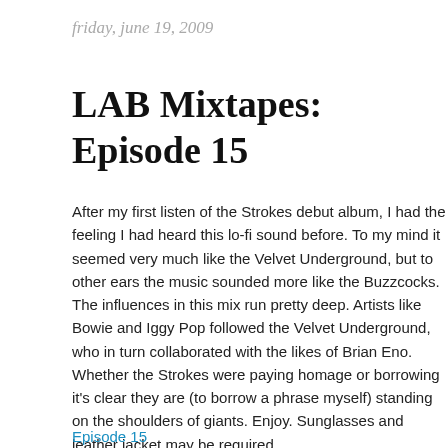friday, june 19, 2009
LAB Mixtapes: Episode 15
After my first listen of the Strokes debut album, I had the feeling I had heard this lo-fi sound before. To my mind it seemed very much like the Velvet Underground, but to other ears the music sounded more like the Buzzcocks. The influences in this mix run pretty deep. Artists like Bowie and Iggy Pop followed the Velvet Underground, who in turn collaborated with the likes of Brian Eno. Whether the Strokes were paying homage or borrowing it's clear they are (to borrow a phrase myself) standing on the shoulders of giants. Enjoy. Sunglasses and leather jacket may be required.
Episode 15
Runs 11:23 mins
Links below open the iTunes Music Store
1. Take It Or Leave It - The Strokes
2. Everybody's Happy Nowadays - Buzzcocks